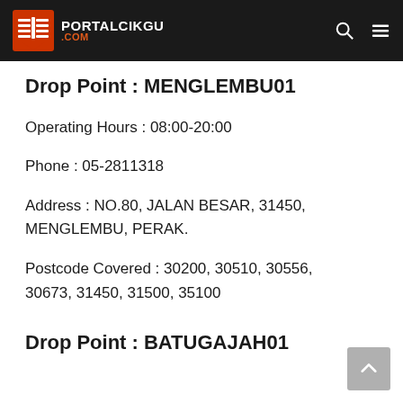PORTALCIKGU .COM
Drop Point : MENGLEMBU01
Operating Hours : 08:00-20:00
Phone : 05-2811318
Address : NO.80, JALAN BESAR, 31450, MENGLEMBU, PERAK.
Postcode Covered : 30200, 30510, 30556, 30673, 31450, 31500, 35100
Drop Point : BATUGAJAH01